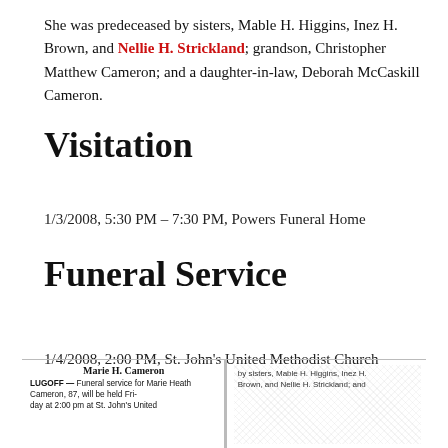She was predeceased by sisters, Mable H. Higgins, Inez H. Brown, and Nellie H. Strickland; grandson, Christopher Matthew Cameron; and a daughter-in-law, Deborah McCaskill Cameron.
Visitation
1/3/2008, 5:30 PM – 7:30 PM, Powers Funeral Home
Funeral Service
1/4/2008, 2:00 PM, St. John's United Methodist Church
[Figure (photo): Newspaper clipping showing obituary for Marie H. Cameron with partial text visible at bottom of page]